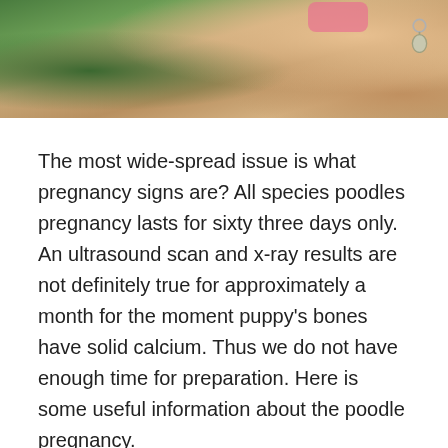[Figure (photo): Close-up photo of a poodle dog with green foliage in background, pink accessory and charm visible]
The most wide-spread issue is what pregnancy signs are? All species poodles pregnancy lasts for sixty three days only. An ultrasound scan and x-ray results are not definitely true for approximately a month for the moment puppy's bones have solid calcium. Thus we do not have enough time for preparation. Here is some useful information about the poodle pregnancy.
Pregnancy symptoms
[Figure (photo): Photo of a poodle dog outdoors in winter with bare trees in background]
If you